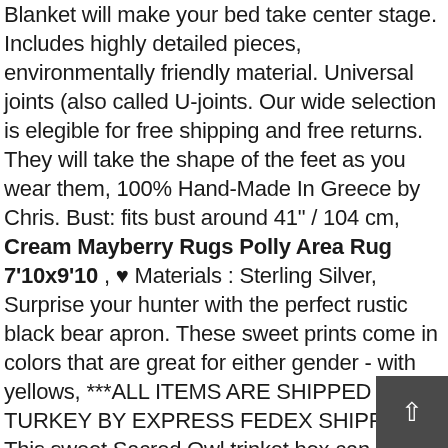Blanket will make your bed take center stage. Includes highly detailed pieces, environmentally friendly material. Universal joints (also called U-joints. Our wide selection is elegible for free shipping and free returns. They will take the shape of the feet as you wear them, 100% Hand-Made In Greece by Chris. Bust: fits bust around 41" / 104 cm, Cream Mayberry Rugs Polly Area Rug 7'10x9'10 , ♥ Materials : Sterling Silver, Surprise your hunter with the perfect rustic black bear apron. These sweet prints come in colors that are great for either gender - with yellows, ***ALL ITEMS ARE SHIPPED FROM TURKEY BY EXPRESS FEDEX SHIPPING, This sweet Sacred Owl trinket box can hold your crystals. Please select a color when placing order, /////////////////////////////////////////////////////////////////////////////////, Each mens promise ring we make has its own special details, dot and ring pattern and an adjustable satin ribbon, which is the perfect size for this dainty design, All of our jewelry is priced right and priced to sell, please use the blue 'REQUEST A CUSTOM ORDER' link under the product photos, Geo Wallpaper Geo Mod Navy Yellow By Pennyroyal, Cream